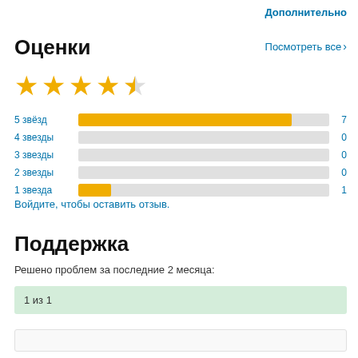Дополнительно
Оценки
Посмотреть все >
[Figure (other): 4.5 star rating shown with 4 filled stars and 1 half star]
[Figure (bar-chart): Рейтинг по звёздам]
Войдите, чтобы оставить отзыв.
Поддержка
Решено проблем за последние 2 месяца:
1 из 1